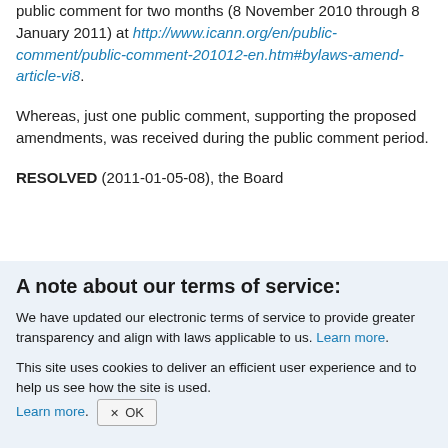public comment for two months (8 November 2010 through 8 January 2011) at http://www.icann.org/en/public-comment/public-comment-201012-en.htm#bylaws-amend-article-vi8.
Whereas, just one public comment, supporting the proposed amendments, was received during the public comment period.
RESOLVED (2011-01-05-08), the Board...
A note about our terms of service:
We have updated our electronic terms of service to provide greater transparency and align with laws applicable to us. Learn more.
This site uses cookies to deliver an efficient user experience and to help us see how the site is used. Learn more. OK